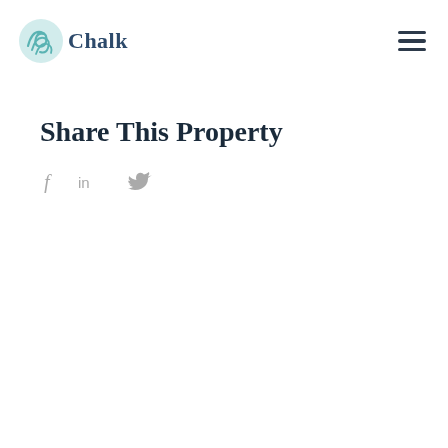Chalk (logo)
Share This Property
[Figure (other): Social media share icons: Facebook (f), LinkedIn (in), Twitter (bird icon)]